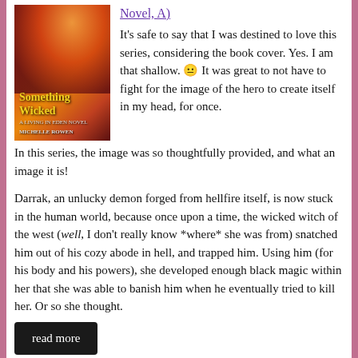[Figure (photo): Book cover of 'Something Wicked' by Michelle Rowen, a Living in Eden Novel. Dark cover with a glowing male figure against fiery background, title in yellow text.]
Novel, A)
It's safe to say that I was destined to love this series, considering the book cover. Yes. I am that shallow. 😶 It was great to not have to fight for the image of the hero to create itself in my head, for once. In this series, the image was so thoughtfully provided, and what an image it is!
Darrak, an unlucky demon forged from hellfire itself, is now stuck in the human world, because once upon a time, the wicked witch of the west (well, I don't really know *where* she was from) snatched him out of his cozy abode in hell, and trapped him. Using him (for his body and his powers), she developed enough black magic within her that she was able to banish him when he eventually tried to kill her. Or so she thought.
read more